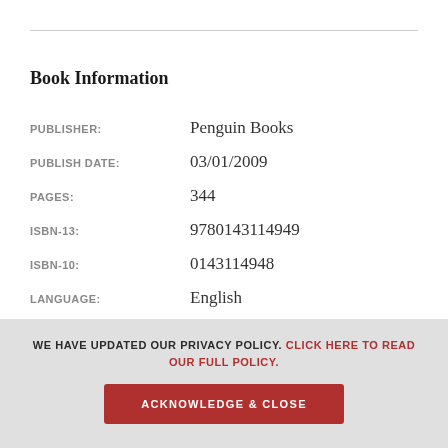Book Information
| Field | Value |
| --- | --- |
| PUBLISHER: | Penguin Books |
| PUBLISH DATE: | 03/01/2009 |
| PAGES: | 344 |
| ISBN-13: | 9780143114949 |
| ISBN-10: | 0143114948 |
| LANGUAGE: | English |
WE HAVE UPDATED OUR PRIVACY POLICY. CLICK HERE TO READ OUR FULL POLICY.
ACKNOWLEDGE & CLOSE